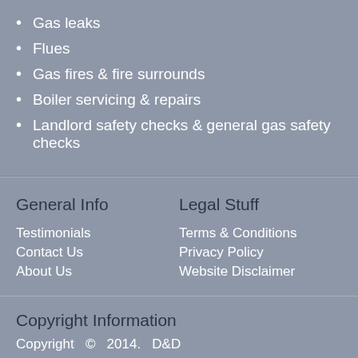Gas leaks
Flues
Gas fires & fire surrounds
Boiler servicing & repairs
Landlord safety checks & general gas safety checks
General Info
Legal Stuff
Testimonials
Contact Us
About Us
Terms & Conditions
Privacy Policy
Website Disclaimer
Copyright Information
Copyright  ©  2014.  D&D